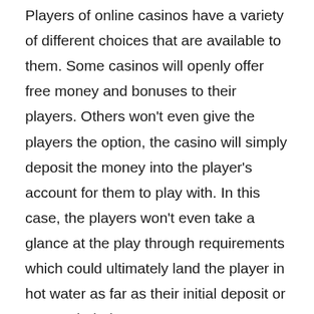Players of online casinos have a variety of different choices that are available to them. Some casinos will openly offer free money and bonuses to their players. Others won't even give the players the option, the casino will simply deposit the money into the player's account for them to play with. In this case, the players won't even take a glance at the play through requirements which could ultimately land the player in hot water as far as their initial deposit or worse, their time.
When you go to visit an online casino for the first time, you'll see big vibrant graphics that illustrate all of the free money that a casino is going to give to you upon signup. What is hard to find sometimes (at the less